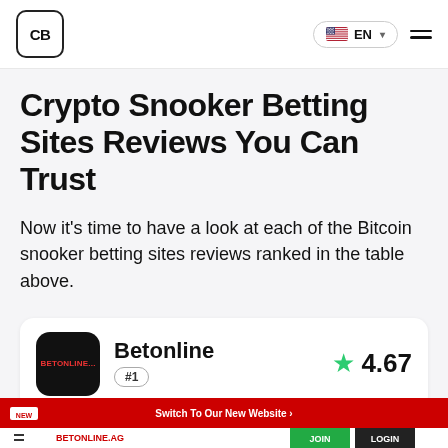CB | EN
Crypto Snooker Betting Sites Reviews You Can Trust
Now it's time to have a look at each of the Bitcoin snooker betting sites reviews ranked in the table above.
Betonline #1 ★ 4.67
[Figure (screenshot): Bottom banner showing BetOnline.ag website with red background, 'NEW' label, 'Switch To Our New Website' text, and navigation bar with JOIN and LOGIN buttons.]